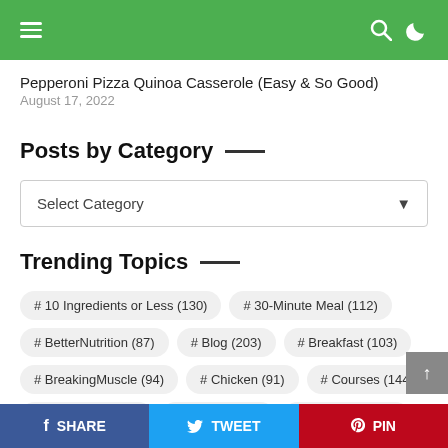Navigation bar with hamburger menu, search, and dark mode icons
Pepperoni Pizza Quinoa Casserole (Easy & So Good)
August 17, 2022
Posts by Category
Select Category
Trending Topics
# 10 Ingredients or Less (130)
# 30-Minute Meal (112)
# BetterNutrition (87)
# Blog (203)
# Breakfast (103)
# BreakingMuscle (94)
# Chicken (91)
# Courses (144)
# Dairy Free (381)
# Dietary (329)
# Egg-Free (387)
SHARE  TWEET  PIN